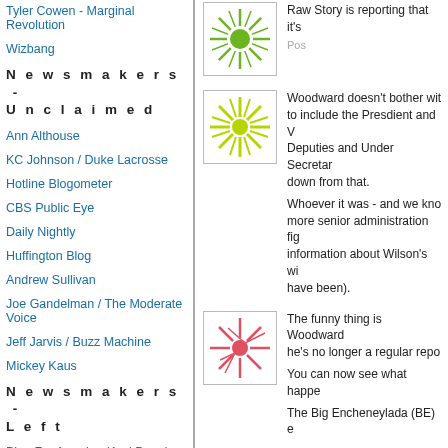Tyler Cowen - Marginal Revolution
Wizbang
Newsmakers - Unclaimed
Ann Althouse
KC Johnson / Duke Lacrosse
Hotline Blogometer
CBS Public Eye
Daily Nightly
Huffington Blog
Andrew Sullivan
Joe Gandelman / The Moderate Voice
Jeff Jarvis / Buzz Machine
Mickey Kaus
Newsmakers - Left
Blog For America (And Dean)
[Figure (illustration): Green sunburst / radial pattern icon on white background]
Raw Story is reporting that it's
Post
[Figure (illustration): Yellow-green flower/snowflake pattern icon on white background]
Woodward doesn't bother with to include the Presdient and V Deputies and Under Secretar down from that. Whoever it was - and we kno more senior administration fig information about Wilson's wi have been).
[Figure (illustration): Red/pink leaf/cracked pattern icon on white background]
The funny thing is Woodward he's no longer a regular repo
You can now see what happe
The Big Encheneylada (BE) e